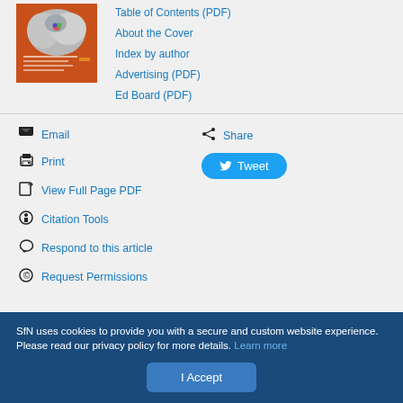[Figure (illustration): Orange journal cover with a gray brain image at top]
Table of Contents (PDF)
About the Cover
Index by author
Advertising (PDF)
Ed Board (PDF)
Email
Print
View Full Page PDF
Citation Tools
Respond to this article
Request Permissions
Share
Tweet
SfN uses cookies to provide you with a secure and custom website experience. Please read our privacy policy for more details. Learn more
I Accept